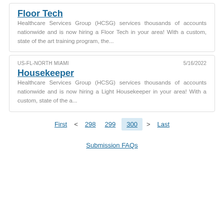Floor Tech
Healthcare Services Group (HCSG) services thousands of accounts nationwide and is now hiring a Floor Tech in your area! With a custom, state of the art training program, the...
US-FL-NORTH MIAMI   5/16/2022
Housekeeper
Healthcare Services Group (HCSG) services thousands of accounts nationwide and is now hiring a Light Housekeeper in your area! With a custom, state of the a...
First  <  298  299  300  >  Last
Submission FAQs